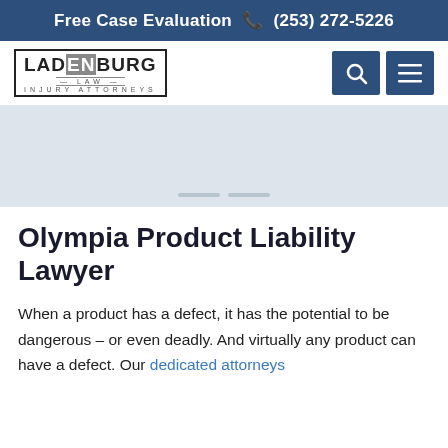Free Case Evaluation  (253) 272-5226
[Figure (logo): Ladenburg Law Injury Attorneys logo with bordered text]
[Figure (screenshot): Hero/banner image area with navigation dots]
Olympia Product Liability Lawyer
When a product has a defect, it has the potential to be dangerous – or even deadly. And virtually any product can have a defect. Our dedicated attorneys